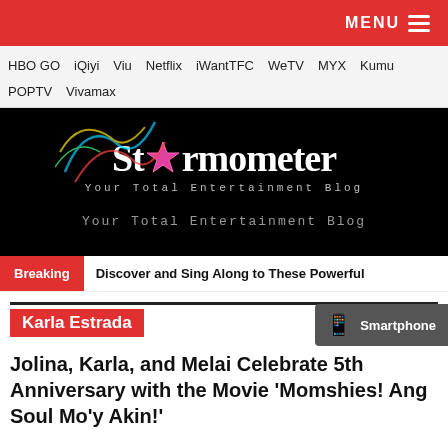MENU
HBO GO  iQiyi  Viu  Netflix  iWantTFC  WeTV  MYX  Kumu  POPTV  Vivamax
[Figure (logo): Stormometer logo — white stylized text with a pink star replacing the letter o, colorful decorative swirls on black background. Tagline: Your Total Entertainment Blog]
Breaking: Discover and Sing Along to These Powerful
Karla Estrada
Jolina, Karla, and Melai Celebrate 5th Anniversary with the Movie 'Momshies! Ang Soul Mo'y Akin!'